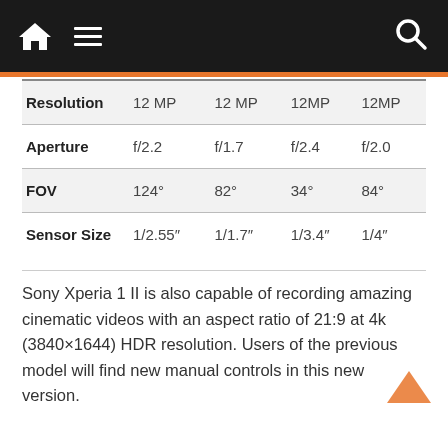Navigation bar with home, menu, and search icons
|  | Col1 | Col2 | Col3 | Col4 |
| --- | --- | --- | --- | --- |
| Resolution | 12 MP | 12 MP | 12MP | 12MP |
| Aperture | f/2.2 | f/1.7 | f/2.4 | f/2.0 |
| FOV | 124° | 82° | 34° | 84° |
| Sensor Size | 1/2.55″ | 1/1.7″ | 1/3.4″ | 1/4″ |
Sony Xperia 1 II is also capable of recording amazing cinematic videos with an aspect ratio of 21:9 at 4k (3840×1644) HDR resolution. Users of the previous model will find new manual controls in this new version.